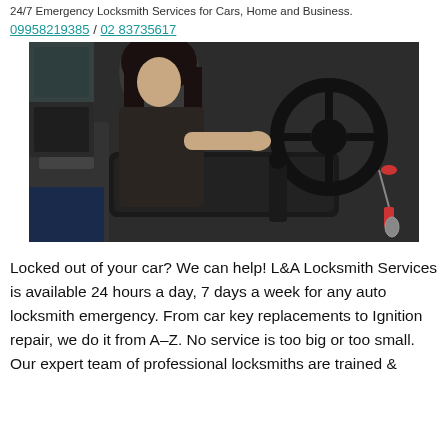24/7 Emergency Locksmith Services for Cars, Home and Business.
09958219385 / 02 83735617
[Figure (photo): A woman locked out of her car, leaning through an open door of a vehicle, showing the car interior with steering wheel and keys hanging from ignition with pink keychain]
Locked out of your car? We can help! L&A Locksmith Services is available 24 hours a day, 7 days a week for any auto locksmith emergency. From car key replacements to Ignition repair, we do it from A-Z. No service is too big or too small. Our expert team of professional locksmiths are trained &